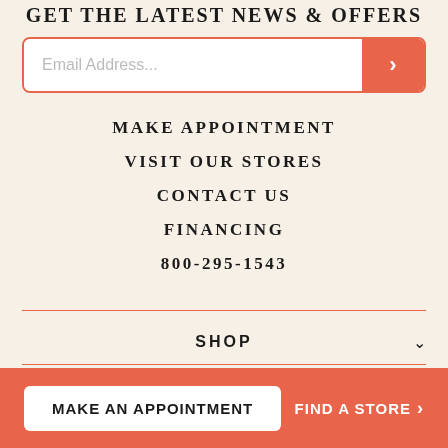GET THE LATEST NEWS & OFFERS
[Figure (other): Email address input field with submit button]
MAKE APPOINTMENT
VISIT OUR STORES
CONTACT US
FINANCING
800-295-1543
SHOP
EXPLORE
MAKE AN APPOINTMENT   FIND A STORE >